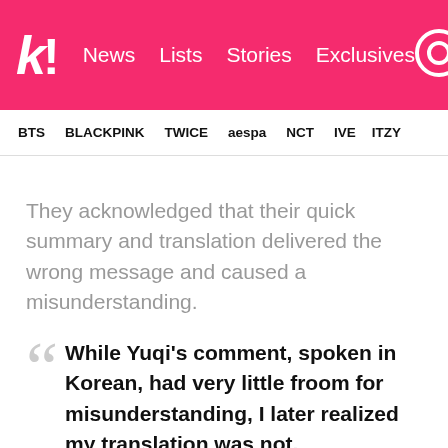k! News  Lists  Stories  Exclusives
BTS  BLACKPINK  TWICE  aespa  NCT  IVE  ITZY
They acknowledged that their quick summary and translation delivered the wrong message and caused a misunderstanding.
While Yuqi's comment, spoken in Korean, had very little froom for misunderstanding, I later realized my translation was not.
The...